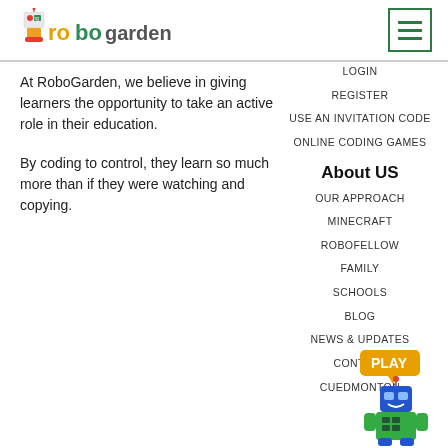[Figure (logo): RoboGarden logo with colorful robot icon and text]
[Figure (other): Hamburger menu icon (three horizontal lines) in green border]
At RoboGarden, we believe in giving learners the opportunity to take an active role in their education.
By coding to control, they learn so much more than if they were watching and copying.
LOGIN
REGISTER
USE AN INVITATION CODE
ONLINE CODING GAMES
About US
OUR APPROACH
MINECRAFT
ROBOFELLOW
FAMILY
SCHOOLS
BLOG
NEWS & UPDATES
CONTACT
CUEDMONTON
[Figure (illustration): Green robot mascot with PLAY speech bubble in bottom right corner]